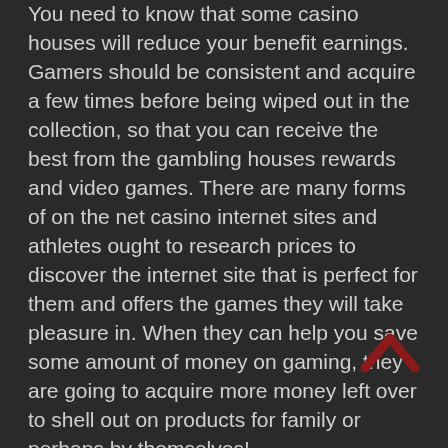You need to know that some casino houses will reduce your benefit earnings. Gamers should be consistent and acquire a few times before being wiped out in the collection, so that you can receive the best from the gambling houses rewards and video games. There are many forms of on the net casino internet sites and athletes ought to research prices to discover the internet site that is perfect for them and offers the games they will take pleasure in. When they can help you save some amount of money on gaming, they are going to acquire more money left over to shell out on products for family or perhaps by themselves!
If you have any thoughts concerning the place and how to use More Information and facts, you can get hold of us at our own page.
Go on your quest for more related blog posts: